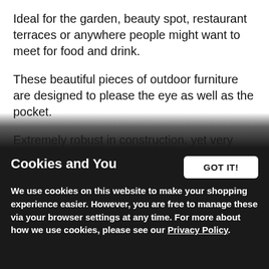Ideal for the garden, beauty spot, restaurant terraces or anywhere people might want to meet for food and drink.
These beautiful pieces of outdoor furniture are designed to please the eye as well as the pocket.
Extremely robust in construction, yet very comfortable to sit on.
Made entirely from British recycled plastic, they will last up to 50 years without need for paint or varnish.
The occasional jet washing or wipe down with soapy water will keep your picnic table looking as good as the day you bought it.
Cookies and You
We use cookies on this website to make your shopping experience easier. However, you are free to manage these via your browser settings at any time. For more about how we use cookies, please see our Privacy Policy.